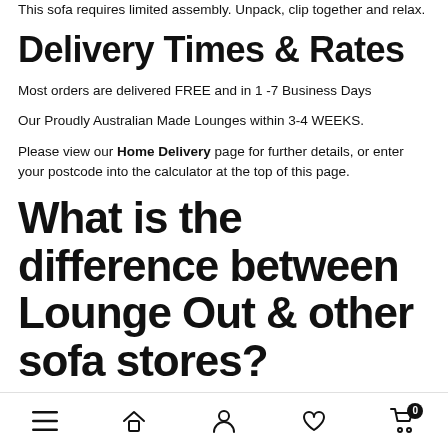This sofa requires limited assembly. Unpack, clip together and relax.
Delivery Times & Rates
Most orders are delivered FREE and in 1-7 Business Days
Our Proudly Australian Made Lounges within 3-4 WEEKS.
Please view our Home Delivery page for further details, or enter your postcode into the calculator at the top of this page.
What is the difference between Lounge Out & other sofa stores?
Navigation bar with menu, home, account, wishlist, and cart icons